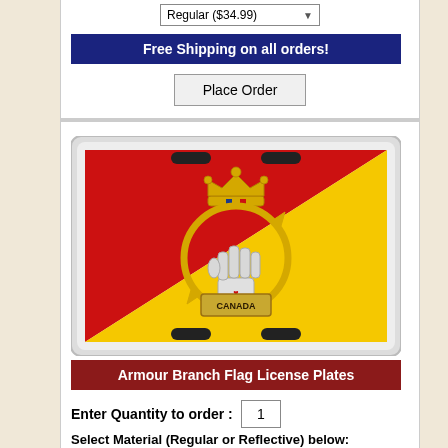Regular ($34.99)
Free Shipping on all orders!
Place Order
[Figure (photo): Armour Branch Flag License Plate showing a red and yellow diagonal flag design with a military crest (armoured fist with crown and maple leaf, Canada text) in the center]
Armour Branch Flag License Plates
Enter Quantity to order : 1
Select Material (Regular or Reflective) below:
Regular ($34.99)